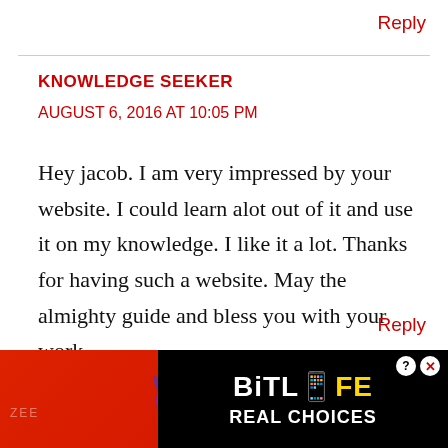Reply
KNOWLEDGE SEEKER
AUGUST 6, 2016 AT 10:05 PM
Hey jacob. I am very impressed by your website. I could learn alot out of it and use it on my knowledge. I like it a lot. Thanks for having such a website. May the almighty guide and bless you with your work.
Reply
[Figure (photo): Advertisement banner for BitLife game with emoji characters on red background, showing 'BitLife REAL CHOICES' text on black panel]